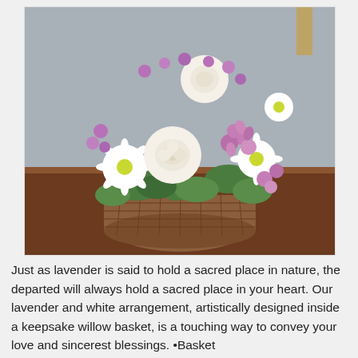[Figure (photo): A flower arrangement in a wicker basket on a wooden table. The arrangement features white roses, white daisies, purple/lavender alstroemeria, and small purple wildflowers with green foliage, set against a gray background.]
Just as lavender is said to hold a sacred place in nature, the departed will always hold a sacred place in your heart. Our lavender and white arrangement, artistically designed inside a keepsake willow basket, is a touching way to convey your love and sincerest blessings. •Basket